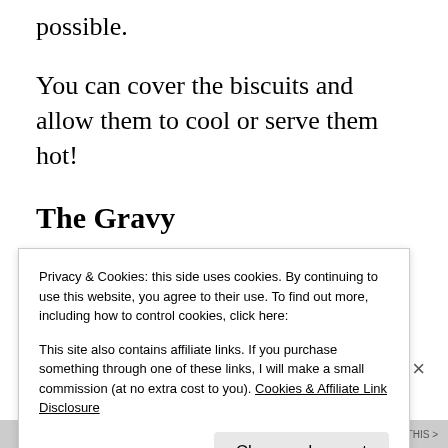possible.
You can cover the biscuits and allow them to cool or serve them hot!
The Gravy
Mom always used Jimmy Dean Italian sausage,
however, I recently discovered that a local
Privacy & Cookies: this side uses cookies. By continuing to use this website, you agree to their use. To find out more, including how to control cookies, click here:

This site also contains affiliate links. If you purchase something through one of these links, I will make a small commission (at no extra cost to you). Cookies & Affiliate Link Disclosure
Close and accept